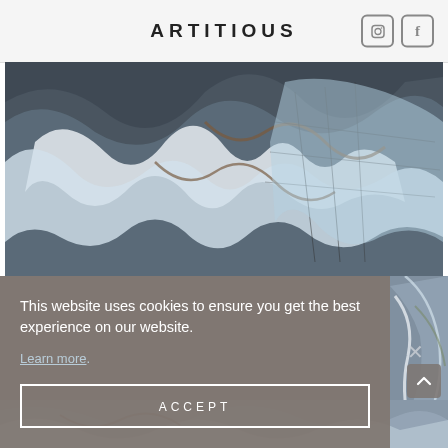ARTITIOUS
[Figure (photo): Abstract oil painting with flowing white, blue and brown strokes on dark background, partially cropped at top]
[Figure (other): Social share icons: Facebook (f) and Twitter bird]
This website uses cookies to ensure you get the best experience on our website.
Learn more
ACCEPT
[Figure (photo): Partial abstract painting visible behind cookie overlay on right side and at bottom of page]